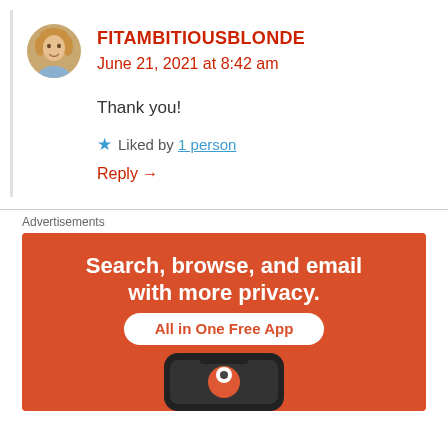[Figure (illustration): Round avatar photo of a blonde woman]
FITAMBITIOUSBLONDE
June 21, 2021 at 8:42 am
Thank you!
★ Liked by 1 person
Reply →
Advertisements
[Figure (infographic): Orange advertisement banner: Search, browse, and email with more privacy. All in One Free App. Shows a phone with DuckDuckGo logo.]